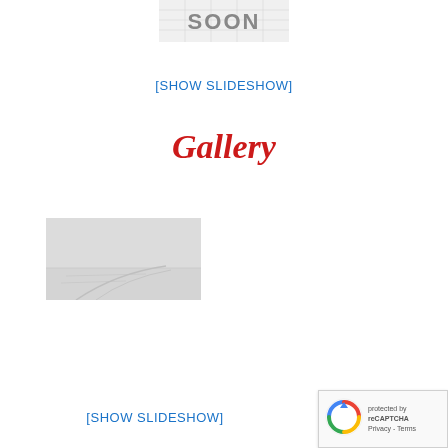[Figure (photo): Partially visible calendar or grid image showing the word SOON in gray letters on a light background]
[SHOW SLIDESHOW]
Gallery
[Figure (photo): A landscape photograph showing a hazy or foggy scene, possibly a road or runway with gray tones]
[SHOW SLIDESHOW]
[Figure (other): reCAPTCHA badge with Privacy and Terms links]